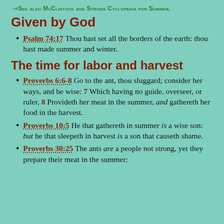⇒See also McClintock and Strong Cyclopedia for Summer.
Given by God
Psalm 74:17 Thou hast set all the borders of the earth: thou hast made summer and winter.
The time for labor and harvest
Proverbs 6:6-8 Go to the ant, thou sluggard; consider her ways, and be wise: 7 Which having no guide, overseer, or ruler, 8 Provideth her meat in the summer, and gathereth her food in the harvest.
Proverbs 10:5 He that gathereth in summer is a wise son: but he that sleepeth in harvest is a son that causeth shame.
Proverbs 30:25 The ants are a people not strong, yet they prepare their meat in the summer: